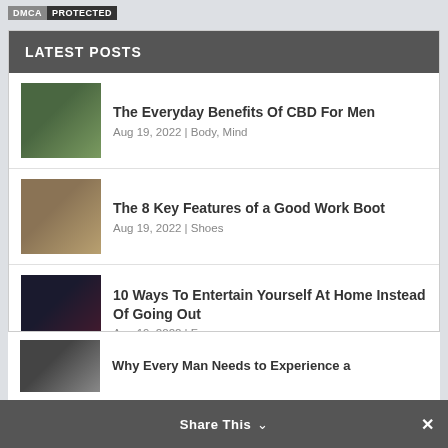[Figure (logo): DMCA Protected badge with dark background]
LATEST POSTS
The Everyday Benefits Of CBD For Men | Aug 19, 2022 | Body, Mind
The 8 Key Features of a Good Work Boot | Aug 19, 2022 | Shoes
10 Ways To Entertain Yourself At Home Instead Of Going Out | Aug 19, 2022 | Fun
What Are the 7 Things Women Value the Most in Men | Aug 16, 2022 | Relationships
Share This  ✓  ×
Why Every Man Needs to Experience a